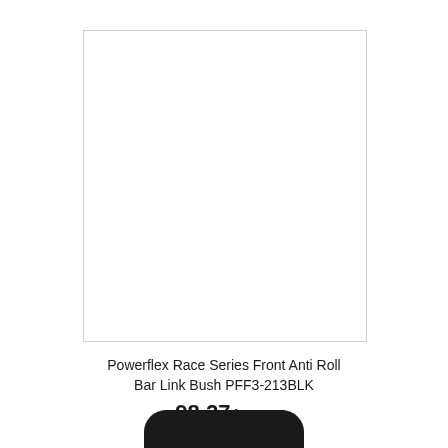[Figure (photo): Product image placeholder — white rectangle with light grey border]
Powerflex Race Series Front Anti Roll Bar Link Bush PFF3-213BLK
£ 98.27 inc VAT